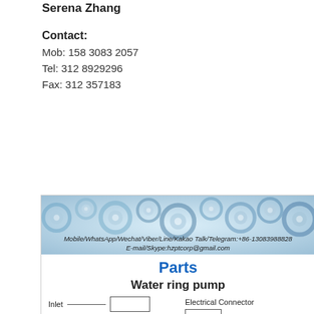Serena Zhang
Contact:
Mob: 158 3083 2057
Tel: 312 8929296
Fax: 312 357183
[Figure (infographic): Gear-themed banner with contact info: Mobile/WhatsApp/Wechat/Viber/Line/Kakao Talk/Telegram:+86-13083988828, E-mail/Skype:hzptcorp@gmail.com, followed by Parts label (blue), Water ring pump title, and partial diagram showing Inlet, Outlet labels and Electrical Connector label with boxes]